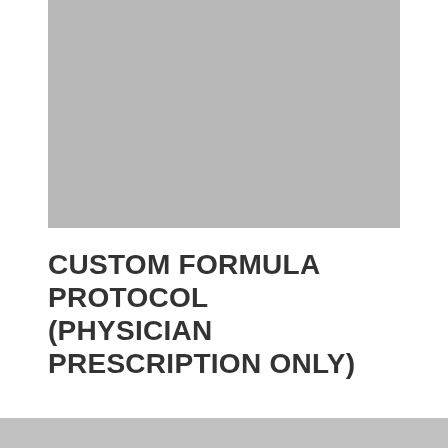[Figure (photo): Large gray placeholder image at the top of the page]
CUSTOM FORMULA PROTOCOL (PHYSICIAN PRESCRIPTION ONLY)
[Figure (photo): Gray bar at the bottom of the page]